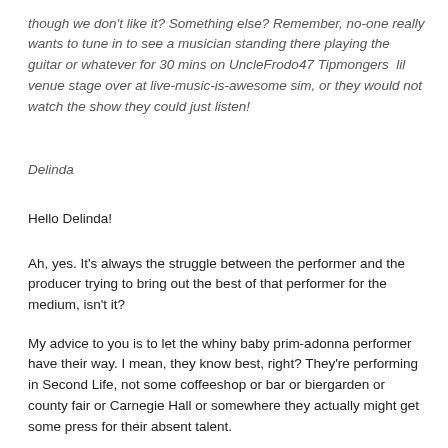though we don't like it? Something else? Remember, no-one really wants to tune in to see a musician standing there playing the guitar or whatever for 30 mins on UncleFrodo47 Tipmongers  lil venue stage over at live-music-is-awesome sim, or they would not watch the show they could just listen!
Delinda
Hello Delinda!
Ah, yes. It's always the struggle between the performer and the producer trying to bring out the best of that performer for the medium, isn't it?
My advice to you is to let the whiny baby prim-adonna performer have their way. I mean, they know best, right? They're performing in Second Life, not some coffeeshop or bar or biergarden or county fair or Carnegie Hall or somewhere they actually might get some press for their absent talent.